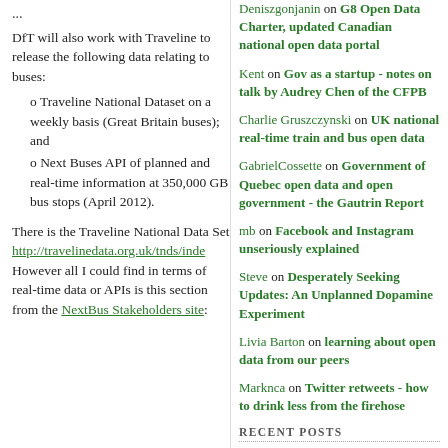...
DfT will also work with Traveline to release the following data relating to buses:
o Traveline National Dataset on a weekly basis (Great Britain buses); and
o Next Buses API of planned and real-time information at 350,000 GB bus stops (April 2012).
There is the Traveline National Data Set
http://travelinedata.org.uk/tnds/inde
However all I could find in terms of real-time data or APIs is this section from the NextBus Stakeholders site:
Deniszgonjanin on G8 Open Data Charter, updated Canadian national open data portal
Kent on Gov as a startup - notes on talk by Audrey Chen of the CFPB
Charlie Gruszczynski on UK national real-time train and bus open data
GabrielCossette on Government of Quebec open data and open government - the Gautrin Report
mb on Facebook and Instagram unseriously explained
Steve on Desperately Seeking Updates: An Unplanned Dopamine Experiment
Livia Barton on learning about open data from our peers
Marknca on Twitter retweets - how to drink less from the firehose
RECENT POSTS
CSPC - Open Science and Research Security - June 21, 2022